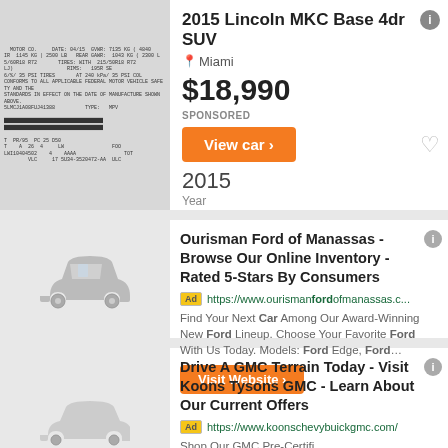[Figure (photo): VIN label/sticker on a car door jamb showing vehicle specifications, weight ratings, tire information, and barcode]
2015 Lincoln MKC Base 4dr SUV
Miami
$18,990
SPONSORED
View car ›
2015
Year
Ourisman Ford of Manassas - Browse Our Online Inventory - Rated 5-Stars By Consumers
Ad https://www.ourismanfordofmanassas.c...
Find Your Next Car Among Our Award-Winning New Ford Lineup. Choose Your Favorite Ford With Us Today. Models: Ford Edge, Ford…
Visit Website ›
Drive A GMC Terrain Today - Visit Koons Tysons GMC - Learn About Our Current Offers
Ad https://www.koonschevybuickgmc.com/
Shop Our GMC Pre-Certifi...